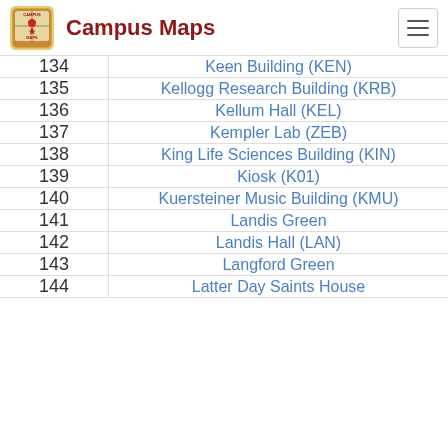Campus Maps
| # | Building |
| --- | --- |
| 134 | Keen Building (KEN) |
| 135 | Kellogg Research Building (KRB) |
| 136 | Kellum Hall (KEL) |
| 137 | Kempler Lab (ZEB) |
| 138 | King Life Sciences Building (KIN) |
| 139 | Kiosk (K01) |
| 140 | Kuersteiner Music Building (KMU) |
| 141 | Landis Green |
| 142 | Landis Hall (LAN) |
| 143 | Langford Green |
| 144 | Latter Day Saints House |